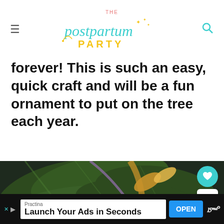THE postpartum PARTY
forever! This is such an easy, quick craft and will be a fun ornament to put on the tree each year.
[Figure (photo): DIY photo ornament with gold embroidery hoop, evergreen cedar branches, red berries, and gold/purple ribbon against dark background. A white circular ornament with engraved text is visible. Social sharing overlay with heart button (111 saves), share button, and 'WHAT'S NEXT: DIY photo ornament fo...' panel shown.]
Practina
Launch Your Ads in Seconds